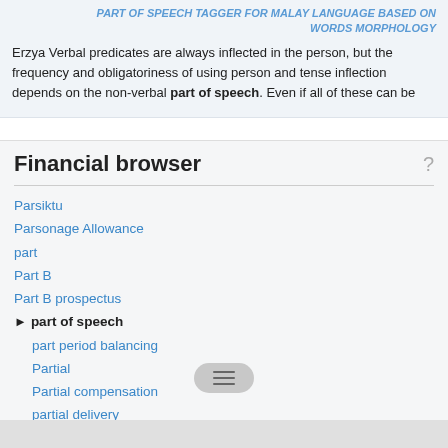PART OF SPEECH TAGGER FOR MALAY LANGUAGE BASED ON WORDS MORPHOLOGY
Erzya Verbal predicates are always inflected in the person, but the frequency and obligatoriness of using person and tense inflection depends on the non-verbal part of speech. Even if all of these can be
Financial browser
Parsiktu
Parsonage Allowance
part
Part B
Part B prospectus
▶ part of speech
part period balancing
Partial
Partial compensation
partial delivery
partial equilibrium analysis
partial execution